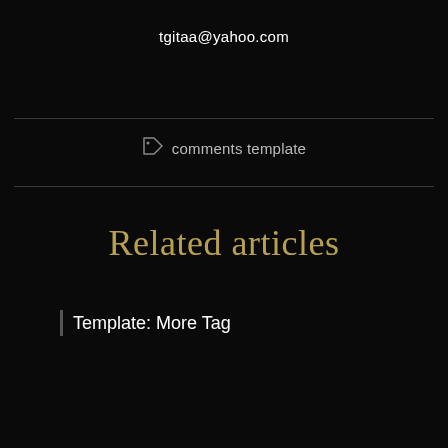tgitaa@yahoo.com
comments template
Related articles
Template: More Tag